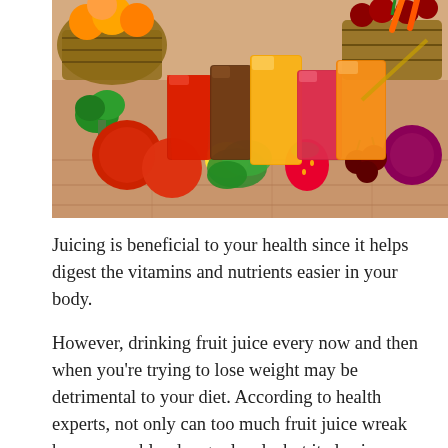[Figure (photo): A colorful spread of fresh fruits and vegetables alongside various glasses of freshly squeezed juices in red, orange, and other colors. Includes tomatoes, broccoli, apples, lemons, cherries, strawberries, carrots, and wicker baskets of fruit in the background, all arranged on a wooden surface.]
Juicing is beneficial to your health since it helps digest the vitamins and nutrients easier in your body.
However, drinking fruit juice every now and then when you're trying to lose weight may be detrimental to your diet. According to health experts, not only can too much fruit juice wreak havoc your blood sugar levels, but it also increases your calories at a fast rate. Since fruits